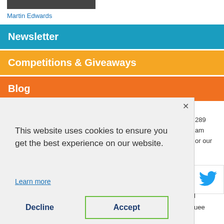Martin Edwards
Newsletter
Competitions & Giveaways
Blog
Tweeting
This website uses cookies to ensure you get the best experience on our website.
Learn more
Decline
Accept